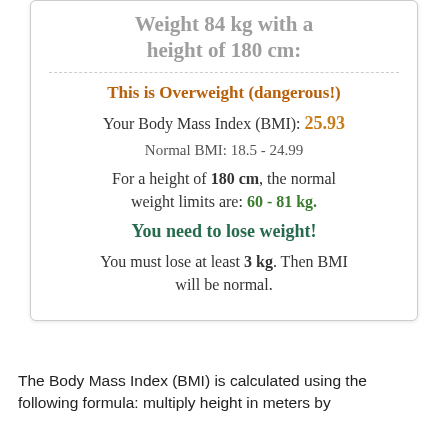Weight 84 kg with a height of 180 cm:
This is Overweight (dangerous!)
Your Body Mass Index (BMI): 25.93
Normal BMI: 18.5 - 24.99
For a height of 180 cm, the normal weight limits are: 60 - 81 kg.
You need to lose weight!
You must lose at least 3 kg. Then BMI will be normal.
The Body Mass Index (BMI) is calculated using the following formula: multiply height in meters by